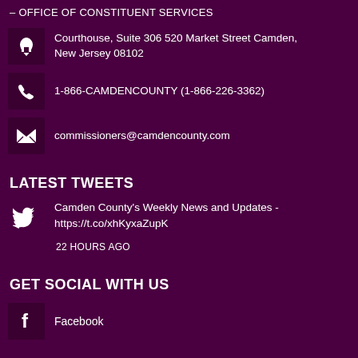– OFFICE OF CONSTITUENT SERVICES
Courthouse, Suite 306 520 Market Street Camden, New Jersey 08102
1-866-CAMDENCOUNTY (1-866-226-3362)
commissioners@camdencounty.com
LATEST TWEETS
Camden County's Weekly News and Updates - https://t.co/xhKyxaZupK
22 HOURS AGO
GET SOCIAL WITH US
Facebook